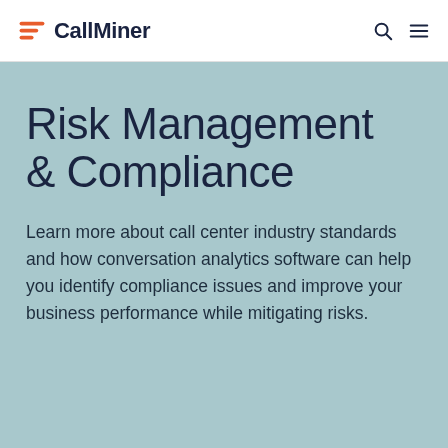CallMiner
Risk Management & Compliance
Learn more about call center industry standards and how conversation analytics software can help you identify compliance issues and improve your business performance while mitigating risks.